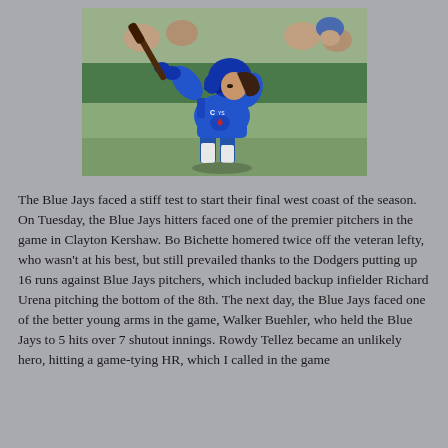[Figure (photo): Baseball player in blue Toronto Blue Jays uniform in batting stance, holding bat, wearing blue helmet, at a stadium]
The Blue Jays faced a stiff test to start their final west coast of the season. On Tuesday, the Blue Jays hitters faced one of the premier pitchers in the game in Clayton Kershaw. Bo Bichette homered twice off the veteran lefty, who wasn't at his best, but still prevailed thanks to the Dodgers putting up 16 runs against Blue Jays pitchers, which included backup infielder Richard Urena pitching the bottom of the 8th. The next day, the Blue Jays faced one of the better young arms in the game, Walker Buehler, who held the Blue Jays to 5 hits over 7 shutout innings. Rowdy Tellez became an unlikely hero, hitting a game-tying HR, which I called in the game